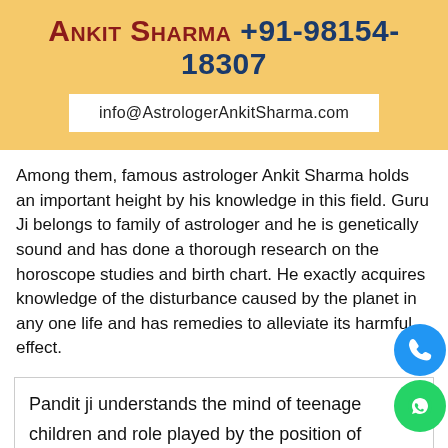Ankit Sharma +91-98154-18307
info@AstrologerAnkitSharma.com
Among them, famous astrologer Ankit Sharma holds an important height by his knowledge in this field. Guru Ji belongs to family of astrologer and he is genetically sound and has done a thorough research on the horoscope studies and birth chart. He exactly acquires knowledge of the disturbance caused by the planet in any one life and has remedies to alleviate its harmful effect.
Pandit ji understands the mind of teenage children and role played by the position of heavenly bodies in his life. For any type of love problem solution plea... contact +91-98154-18307 or...